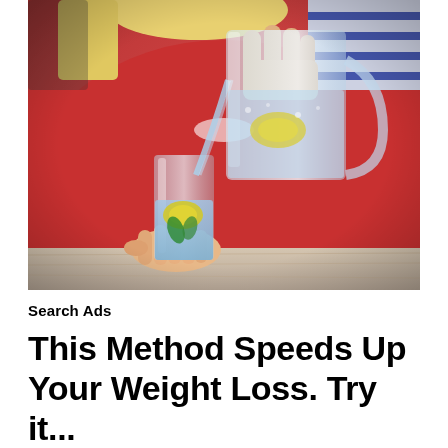[Figure (photo): A woman in a red sweater pouring water with lemon slices from a glass pitcher into a drinking glass on a wooden surface. The glass contains a lemon slice and mint leaves.]
Search Ads
This Method Speeds Up Your Weight Loss. Try it...